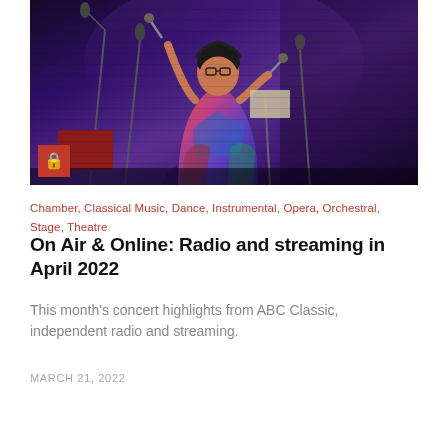[Figure (photo): A performer (woman with glasses and colorful patterned dress) playing percussion instruments on stage, holding mallets, with microphones and music stands visible. Dark stage/brick wall background with purple stage lighting. A red box with a lock icon appears in the bottom-left corner of the image.]
Chamber, Classical Music, Dance, Instrumental, Opera, Orchestral, Stage, Theatre
On Air & Online: Radio and streaming in April 2022
This month's concert highlights from ABC Classic, independent radio and streaming.
MARCH 21, 2022